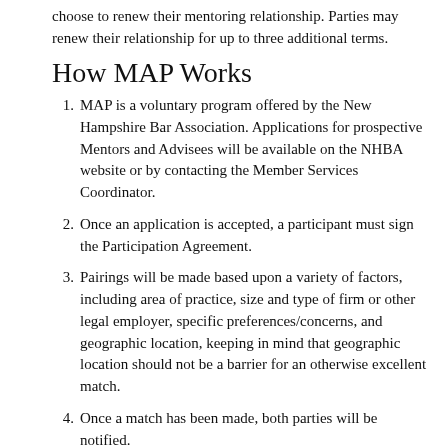choose to renew their mentoring relationship. Parties may renew their relationship for up to three additional terms.
How MAP Works
1. MAP is a voluntary program offered by the New Hampshire Bar Association. Applications for prospective Mentors and Advisees will be available on the NHBA website or by contacting the Member Services Coordinator.
2. Once an application is accepted, a participant must sign the Participation Agreement.
3. Pairings will be made based upon a variety of factors, including area of practice, size and type of firm or other legal employer, specific preferences/concerns, and geographic location, keeping in mind that geographic location should not be a barrier for an otherwise excellent match.
4. Once a match has been made, both parties will be notified.
5. Mentors shall have the responsibility for